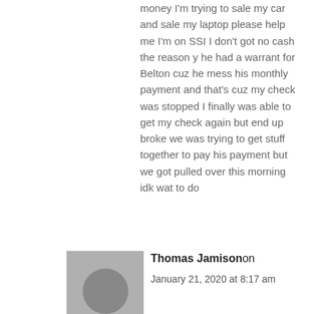money I'm trying to sale my car and sale my laptop please help me I'm on SSI I don't got no cash the reason y he had a warrant for Belton cuz he mess his monthly payment and that's cuz my check was stopped I finally was able to get my check again but end up broke we was trying to get stuff together to pay his payment but we got pulled over this morning idk wat to do
[Figure (photo): Gray avatar placeholder image showing a circular head silhouette]
Thomas Jamison on
January 21, 2020 at 8:17 am